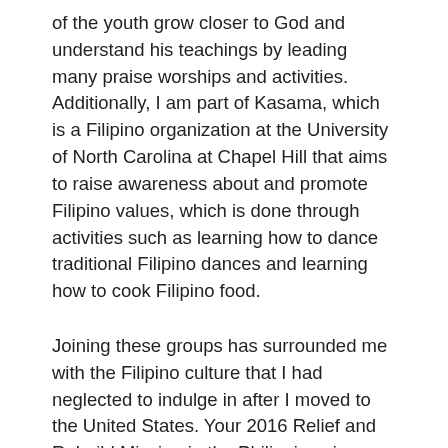of the youth grow closer to God and understand his teachings by leading many praise worships and activities. Additionally, I am part of Kasama, which is a Filipino organization at the University of North Carolina at Chapel Hill that aims to raise awareness about and promote Filipino values, which is done through activities such as learning how to dance traditional Filipino dances and learning how to cook Filipino food.
Joining these groups has surrounded me with the Filipino culture that I had neglected to indulge in after I moved to the United States. Your 2016 Relief and Rebuild Mission in the Philippines is another opportunity that will help me become more involved in it. By participating in this trip, I will be able to make connections with fellow Filipino youth in the United States and obtain a better understanding about my heritage through firsthand experience. In addition to that, I will become part of an organization that will unite and empower Filipino youth and students across the United States. Other